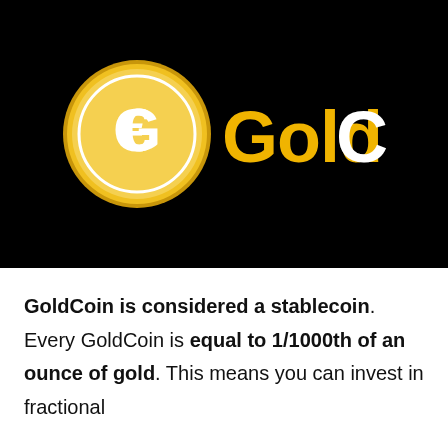[Figure (logo): GoldCoin logo on black background — a gold coin with a stylized G symbol on the left, followed by the word 'Gold' in gold/yellow and 'Coin' in white bold text]
GoldCoin is considered a stablecoin. Every GoldCoin is equal to 1/1000th of an ounce of gold. This means you can invest in fractional